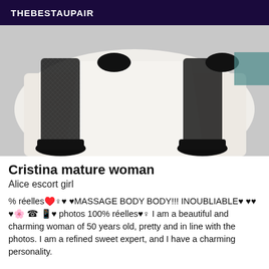THEBESTAUPAIR
[Figure (photo): Photo of legs wearing black fishnet stockings and black high heels, lying on white bedding/pillows]
Cristina mature woman
Alice escort girl
% réelles♥️♀♥ ♥MASSAGE BODY BODY!!! INOUBLIABLE♥ ♥♥ ♥🌸 ☎ 📱♥ photos 100% réelles♥♀ I am a beautiful and charming woman of 50 years old, pretty and in line with the photos. I am a refined sweet expert, and I have a charming personality.